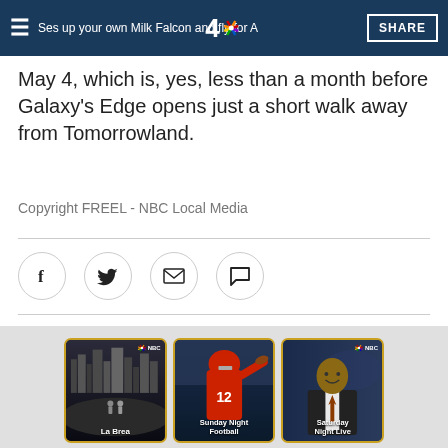S...s up your own Milk... Falcon and fly for A... | SHARE
May 4, which is, yes, less than a month before Galaxy's Edge opens just a short walk away from Tomorrowland.
Copyright FREEL - NBC Local Media
[Figure (other): Social sharing icons: Facebook, Twitter, Email, Comment]
[Figure (other): NBC show promo cards: La Brea, Sunday Night Football, Saturday Night Live]